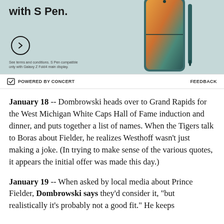[Figure (photo): Advertisement banner showing Samsung Galaxy Z Fold4 with S Pen. Teal/green background with phone image on right side. Circle arrow button and fine print text visible.]
POWERED BY CONCERT   FEEDBACK
January 18 -- Dombrowski heads over to Grand Rapids for the West Michigan White Caps Hall of Fame induction and dinner, and puts together a list of names. When the Tigers talk to Boras about Fielder, he realizes Westhoff wasn't just making a joke. (In trying to make sense of the various quotes, it appears the initial offer was made this day.)
January 19 -- When asked by local media about Prince Fielder, Dombrowski says they'd consider it, "but realistically it's probably not a good fit." He keeps